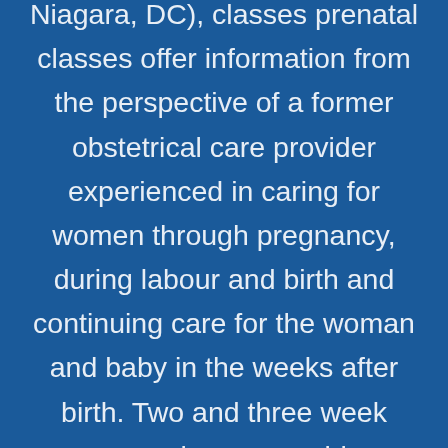Niagara, DC), classes prenatal classes offer information from the perspective of a former obstetrical care provider experienced in caring for women through pregnancy, during labour and birth and continuing care for the woman and baby in the weeks after birth. Two and three week group classes provide information streamlined to cover the most important aspects of